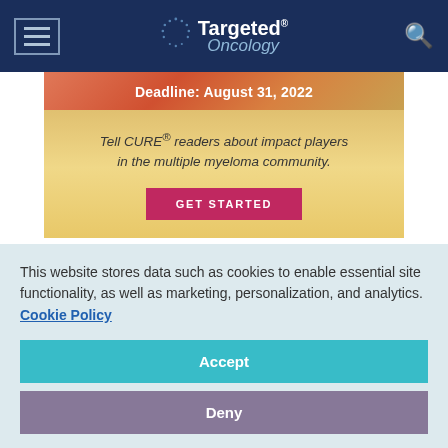Targeted Oncology
[Figure (infographic): Advertisement banner with coral/orange gradient top section showing 'Deadline: August 31, 2022' and yellow/gold gradient bottom section with italic text 'Tell CURE® readers about impact players in the multiple myeloma community.' and a pink GET STARTED button]
Available Treatment Options in
This website stores data such as cookies to enable essential site functionality, as well as marketing, personalization, and analytics. Cookie Policy
Accept
Deny